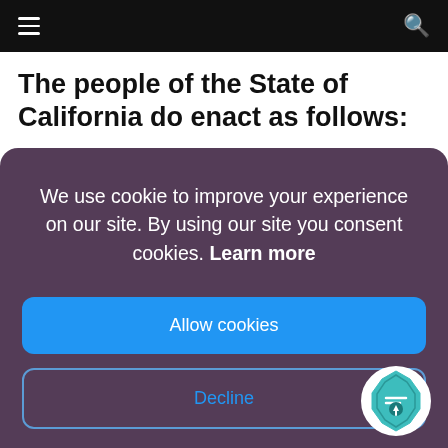The people of the State of California do enact as follows:
We use cookie to improve your experience on our site. By using our site you consent cookies. Learn more
Allow cookies
Decline